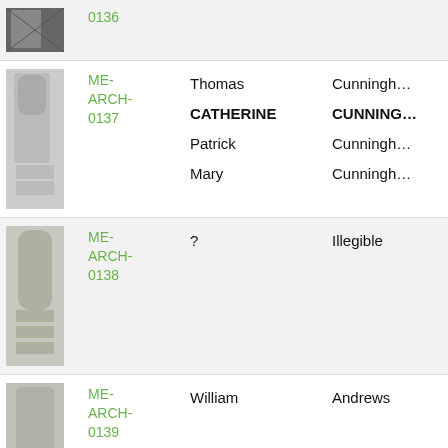| Image | ID | First Name | Surname |
| --- | --- | --- | --- |
| [image] | 0136 |  |  |
| [image] | ME-ARCH-0137 | Thomas
CATHERINE
Patrick
Mary | Cunningh...
CUNNING...
Cunningh...
Cunningh... |
| [image] | ME-ARCH-0138 | ? | Illegible |
| [image] | ME-ARCH-0139 | William | Andrews |
| [image] | ME-ARCH-0140 | Patrick
Mr ?
Mrs ? | Callaghan
Callaghan
Callaghan |